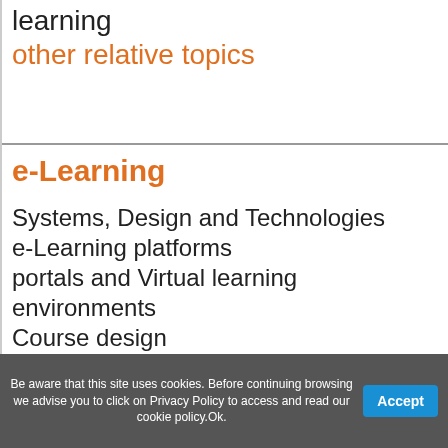learning
other relative topics
e-Learning
Systems, Design and Technologies
e-Learning platforms
portals and Virtual learning environments
Course design
Be aware that this site uses cookies. Before continuing browsing we advise you to click on Privacy Policy to access and read our cookie policy.Ok.